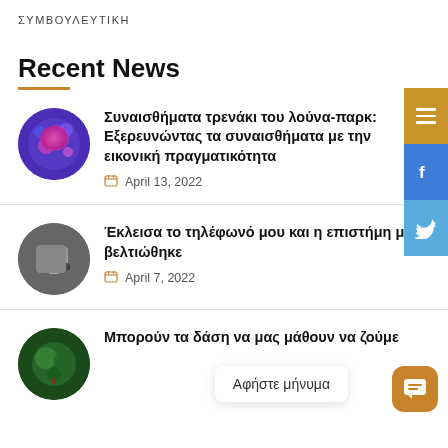ΣΥΜΒΟΥΛΕΥΤΙΚΗ
Recent News
Συναισθήματα τρενάκι του λούνα-παρκ: Εξερευνώντας τα συναισθήματα με την εικονική πραγματικότητα — April 13, 2022
Έκλεισα το τηλέφωνό μου και η επιστήμη μου βελτιώθηκε — April 7, 2022
Μπορούν τα δάση να μας μάθουν να ζούμε